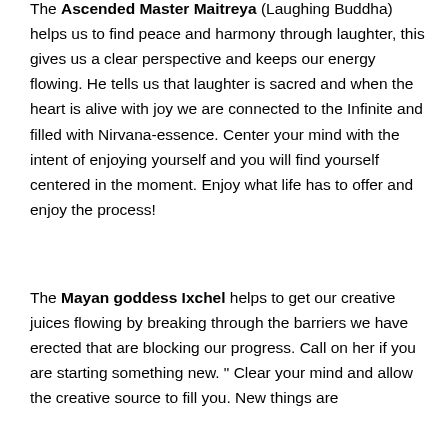The Ascended Master Maitreya (Laughing Buddha) helps us to find peace and harmony through laughter, this gives us a clear perspective and keeps our energy flowing. He tells us that laughter is sacred and when the heart is alive with joy we are connected to the Infinite and filled with Nirvana-essence. Center your mind with the intent of enjoying yourself and you will find yourself centered in the moment. Enjoy what life has to offer and enjoy the process!
The Mayan goddess Ixchel helps to get our creative juices flowing by breaking through the barriers we have erected that are blocking our progress. Call on her if you are starting something new. " Clear your mind and allow the creative source to fill you. New things are